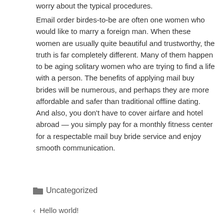worry about the typical procedures.
Email order birdes-to-be are often one women who would like to marry a foreign man. When these women are usually quite beautiful and trustworthy, the truth is far completely different. Many of them happen to be aging solitary women who are trying to find a life with a person. The benefits of applying mail buy brides will be numerous, and perhaps they are more affordable and safer than traditional offline dating. And also, you don't have to cover airfare and hotel abroad — you simply pay for a monthly fitness center for a respectable mail buy bride service and enjoy smooth communication.
Uncategorized
Hello world!